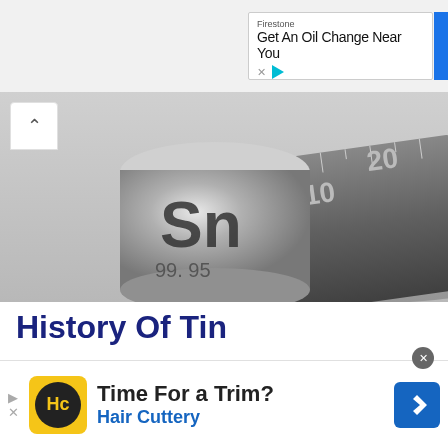[Figure (screenshot): Top advertisement banner for Firestone: 'Get An Oil Change Near You' on light gray background]
[Figure (photo): A silver tin (Sn) element cylinder coin stamped with 'Sn' and '99.95' resting on a metal ruler showing markings at 10 and 20, gray background]
History Of Tin
Tin is one of the oldest metals known, and it has long been utilized as a component of bronze. The...
[Figure (screenshot): Bottom advertisement for Hair Cuttery: 'Time For a Trim?' with HC logo on yellow background and blue navigation arrow icon]